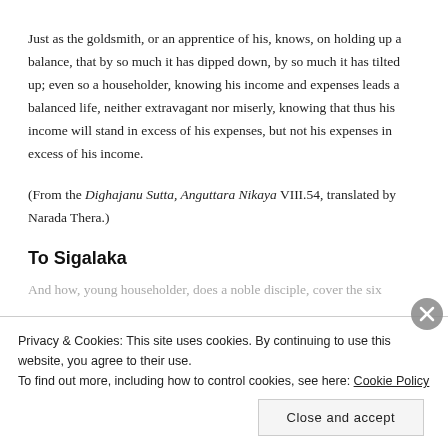Just as the goldsmith, or an apprentice of his, knows, on holding up a balance, that by so much it has dipped down, by so much it has tilted up; even so a householder, knowing his income and expenses leads a balanced life, neither extravagant nor miserly, knowing that thus his income will stand in excess of his expenses, but not his expenses in excess of his income.
(From the Dighajanu Sutta, Anguttara Nikaya VIII.54, translated by Narada Thera.)
To Sigalaka
And how, young householder, does a noble disciple, cover the six
Privacy & Cookies: This site uses cookies. By continuing to use this website, you agree to their use.
To find out more, including how to control cookies, see here: Cookie Policy